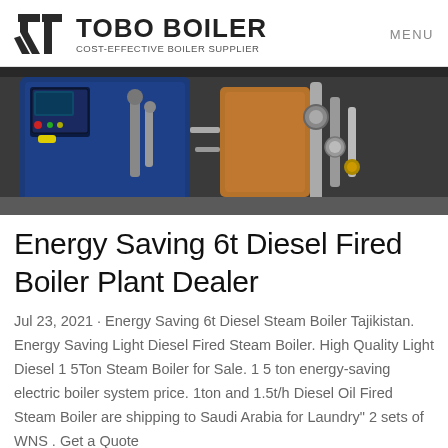TOBO BOILER — COST-EFFECTIVE BOILER SUPPLIER | MENU
[Figure (photo): Industrial boiler equipment — dark blue machine with control panel on left, pipes and fittings on right, photographed in a workshop/industrial setting]
Energy Saving 6t Diesel Fired Boiler Plant Dealer
Jul 23, 2021 · Energy Saving 6t Diesel Steam Boiler Tajikistan. Energy Saving Light Diesel Fired Steam Boiler. High Quality Light Diesel 1 5Ton Steam Boiler for Sale. 1 5 ton energy-saving electric boiler system price. 1ton and 1.5t/h Diesel Oil Fired Steam Boiler are shipping to Saudi Arabia for Laundry" 2 sets of WNS . Get a Quote
Learn More